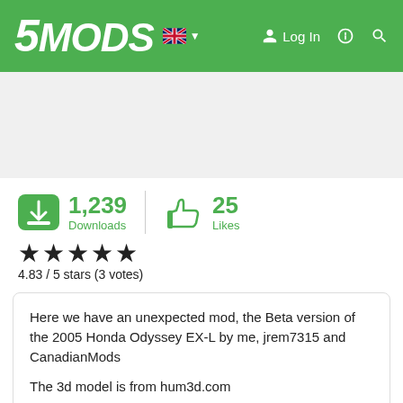5MODS | Log In
1,239 Downloads | 25 Likes
4.83 / 5 stars (3 votes)
Here we have an unexpected mod, the Beta version of the 2005 Honda Odyssey EX-L by me, jrem7315 and CanadianMods

The 3d model is from hum3d.com

This model i was going to wait to release but a few people convinced me to release it in Beta version.

This model does not have opening doors, it doesnt have interior